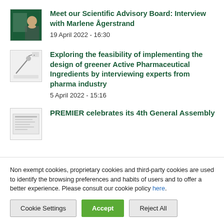Meet our Scientific Advisory Board: Interview with Marlene Ågerstrand
19 April 2022 - 16:30
Exploring the feasibility of implementing the design of greener Active Pharmaceutical Ingredients by interviewing experts from pharma industry
5 April 2022 - 15:16
PREMIER celebrates its 4th General Assembly
Non exempt cookies, proprietary cookies and third-party cookies are used to identify the browsing preferences and habits of users and to offer a better experience. Please consult our cookie policy here.